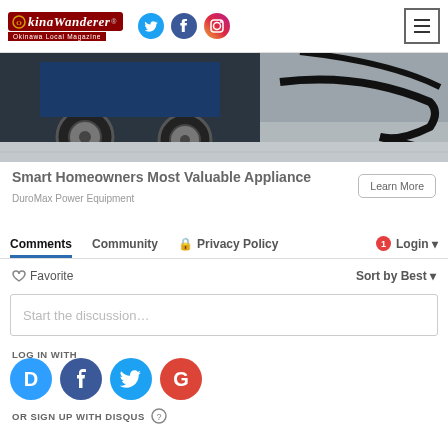[Figure (logo): OkinaWanderer - Okinawa Local Magazine logo with social media icons (Twitter, Facebook, Instagram) and hamburger menu]
[Figure (photo): Close-up photo of power equipment wheel and black hoses on concrete ground]
Smart Homeowners Most Valuable Appliance
DuroMax Power Equipment
Learn More
Comments  Community  Privacy Policy  Login
Favorite  Sort by Best
Start the discussion...
LOG IN WITH
[Figure (infographic): Social login icons: Disqus (D), Facebook (f), Twitter bird, Google (G)]
OR SIGN UP WITH DISQUS ?